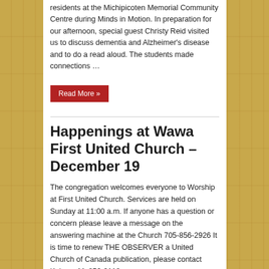residents at the Michipicoten Memorial Community Centre during Minds in Motion. In preparation for our afternoon, special guest Christy Reid visited us to discuss dementia and Alzheimer's disease and to do a read aloud. The students made connections …
Read More »
Happenings at Wawa First United Church – December 19
The congregation welcomes everyone to Worship at First United Church. Services are held on Sunday at 11:00 a.m. If anyone has a question or concern please leave a message on the answering machine at the Church 705-856-2926 It is time to renew THE OBSERVER a United Church of Canada publication, please contact Kaireen M. 856-2118